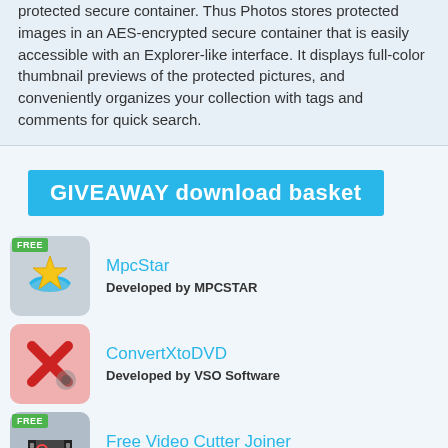protected secure container. Thus Photos stores protected images in an AES-encrypted secure container that is easily accessible with an Explorer-like interface. It displays full-color thumbnail previews of the protected pictures, and conveniently organizes your collection with tags and comments for quick search.
GIVEAWAY download basket
[Figure (illustration): MpcStar app icon - star with ribbon on gray background, FREE badge]
MpcStar
Developed by MPCSTAR
[Figure (illustration): ConvertXtoDVD app icon - red X on pink background]
ConvertXtoDVD
Developed by VSO Software
[Figure (illustration): Free Video Cutter Joiner app icon - scissors on gray background, FREE badge]
Free Video Cutter Joiner
Edit multiple video files to create custom presentations.